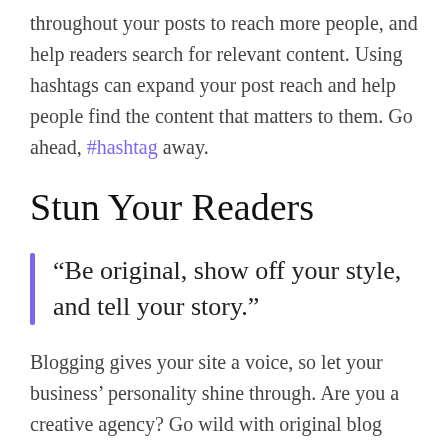throughout your posts to reach more people, and help readers search for relevant content. Using hashtags can expand your post reach and help people find the content that matters to them. Go ahead, #hashtag away.
Stun Your Readers
“Be original, show off your style, and tell your story.”
Blogging gives your site a voice, so let your business’ personality shine through. Are you a creative agency? Go wild with original blog posts about recent projects, cool inspirational ideas,